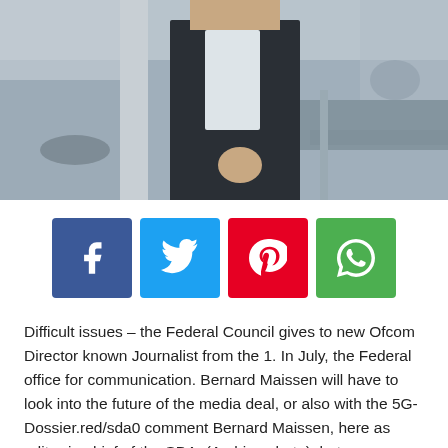[Figure (photo): A man in a dark suit standing in an office environment, photographed from chest down, leaning against a desk or partition. Office furniture visible in background.]
[Figure (infographic): Four social media sharing buttons in a row: Facebook (blue, f icon), Twitter (light blue, bird icon), Pinterest (red, p icon), WhatsApp (green, phone/chat icon)]
Difficult issues – the Federal Council gives to new Ofcom Director known Journalist from the 1. In July, the Federal office for communication. Bernard Maissen will have to look into the future of the media deal, or also with the 5G-Dossier.red/sda0 comment Bernard Maissen, here as editor-in-chief of the SDA. (Archive photo)photo: Alessandro della Valle/Keystone